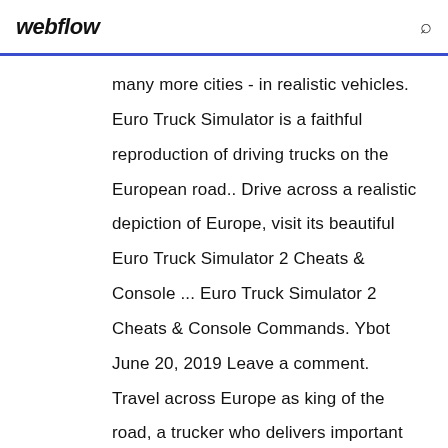webflow
many more cities - in realistic vehicles. Euro Truck Simulator is a faithful reproduction of driving trucks on the European road.. Drive across a realistic depiction of Europe, visit its beautiful Euro Truck Simulator 2 Cheats & Console ... Euro Truck Simulator 2 Cheats & Console Commands. Ybot June 20, 2019 Leave a comment. Travel across Europe as king of the road, a trucker who delivers important cargo across impressive distances! With dozens of cities to explore from the UK, Belgium, Germany, Italy, the Netherlands, Poland, and many more, your endurance, skill and speed will all be pushed to their limits. Euro Truck Simulator Euro Truck Simulator Manual guide